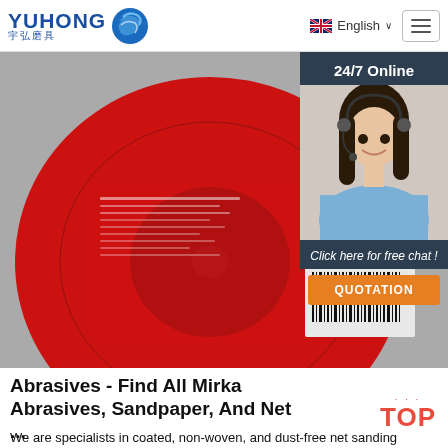[Figure (logo): Yuhong abrasives logo with blue wave icon and Chinese characters 宇弘磨具]
English ∨
[Figure (photo): Close-up photo of a red abrasive grinding disc with barcode label]
24/7 Online
[Figure (photo): Photo of smiling woman with headset representing online customer service]
Click here for free chat !
QUOTATION
Abrasives - Find All Mirka Abrasives, Sandpaper, And Net ...
We are specialists in coated, non-woven, and dust-free net sanding products. Our extensive abrasive product range caters to both individual operations and complete sanding systems. We want to protect your health and the environment so you can create a perfect finish with our abrasives, time after time. Read more about Abrasivessafety.